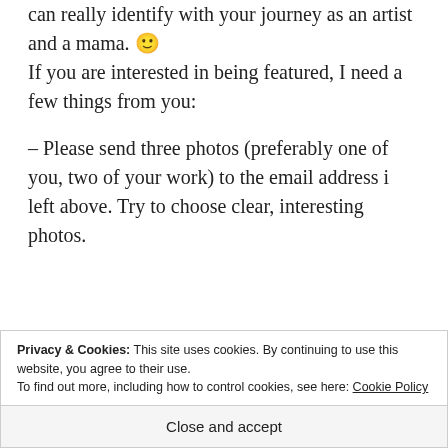can really identify with your journey as an artist and a mama. 🙂 If you are interested in being featured, I need a few things from you:
– Please send three photos (preferably one of you, two of your work) to the email address i left above. Try to choose clear, interesting photos.
Privacy & Cookies: This site uses cookies. By continuing to use this website, you agree to their use.
To find out more, including how to control cookies, see here: Cookie Policy
Close and accept